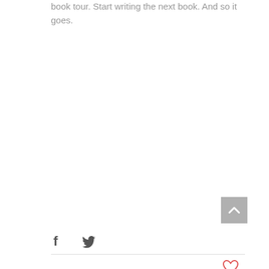book tour.  Start writing the next book. And so it goes.
[Figure (other): Scroll-to-top button: grey square with upward-pointing chevron arrow]
[Figure (other): Social share icons: Facebook 'f' icon and Twitter bird icon]
[Figure (other): Heart/like icon in red outline style]